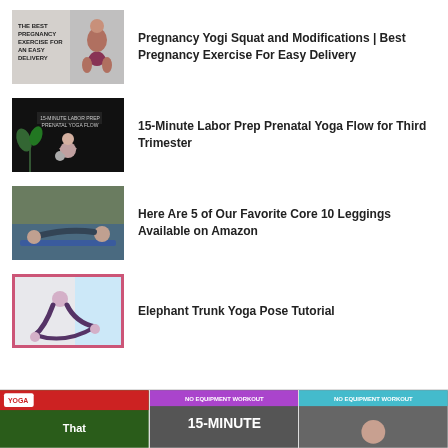Pregnancy Yogi Squat and Modifications | Best Pregnancy Exercise For Easy Delivery
15-Minute Labor Prep Prenatal Yoga Flow for Third Trimester
Here Are 5 of Our Favorite Core 10 Leggings Available on Amazon
Elephant Trunk Yoga Pose Tutorial
[Figure (screenshot): Bottom strip showing three video thumbnails partially visible]